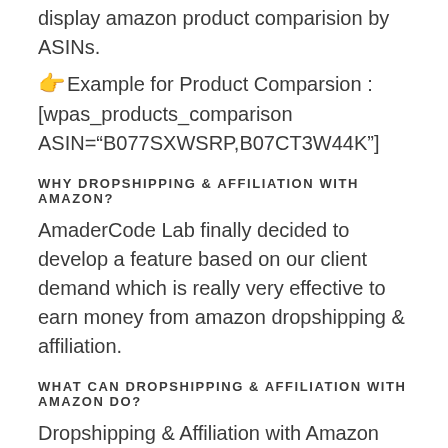display amazon product comparision by ASINs.
👉 Example for Product Comparsion : [wpas_products_comparison ASIN="B077SXWSRP,B07CT3W44K"]
WHY DROPSHIPPING & AFFILIATION WITH AMAZON?
AmaderCode Lab finally decided to develop a feature based on our client demand which is really very effective to earn money from amazon dropshipping & affiliation.
WHAT CAN DROPSHIPPING & AFFILIATION WITH AMAZON DO?
Dropshipping & Affiliation with Amazon plugin can ajax based no page refresh products search with load more, auto link by ASIN and keywords, import products with descriptions from amazon, auto...